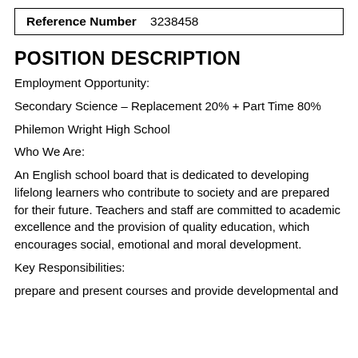| Reference Number | 3238458 |
| --- | --- |
POSITION DESCRIPTION
Employment Opportunity:
Secondary Science – Replacement 20% + Part Time 80%
Philemon Wright High School
Who We Are:
An English school board that is dedicated to developing lifelong learners who contribute to society and are prepared for their future. Teachers and staff are committed to academic excellence and the provision of quality education, which encourages social, emotional and moral development.
Key Responsibilities:
prepare and present courses and provide developmental and